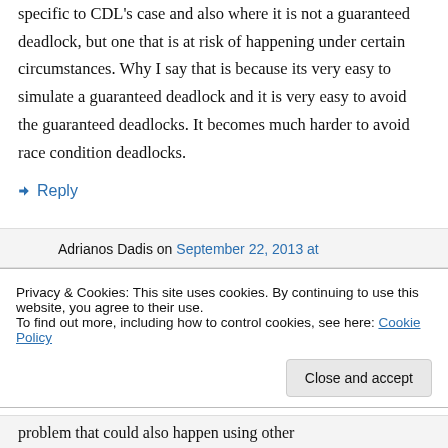specific to CDL's case and also where it is not a guaranteed deadlock, but one that is at risk of happening under certain circumstances. Why I say that is because its very easy to simulate a guaranteed deadlock and it is very easy to avoid the guaranteed deadlocks. It becomes much harder to avoid race condition deadlocks.
↪ Reply
Adrianos Dadis on September 22, 2013 at
Privacy & Cookies: This site uses cookies. By continuing to use this website, you agree to their use.
To find out more, including how to control cookies, see here: Cookie Policy
Close and accept
problem that could also happen using other